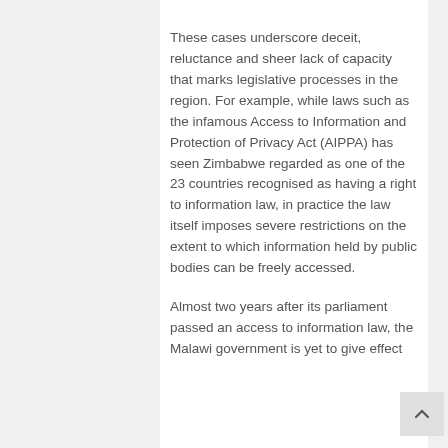These cases underscore deceit, reluctance and sheer lack of capacity that marks legislative processes in the region. For example, while laws such as the infamous Access to Information and Protection of Privacy Act (AIPPA) has seen Zimbabwe regarded as one of the 23 countries recognised as having a right to information law, in practice the law itself imposes severe restrictions on the extent to which information held by public bodies can be freely accessed.
Almost two years after its parliament passed an access to information law, the Malawi government is yet to give effect...